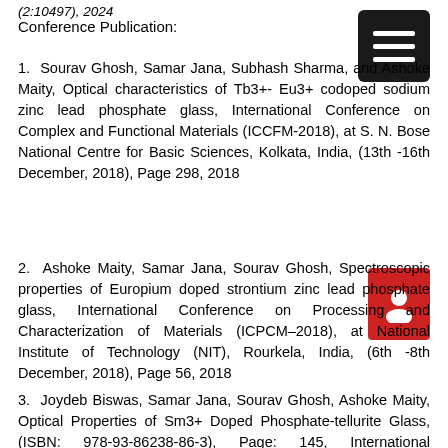(2:10497), 2024
Conference Publication:
1. Sourav Ghosh, Samar Jana, Subhash Sharma, and Ashoke Maity, Optical characteristics of Tb3+- Eu3+ codoped sodium zinc lead phosphate glass, International Conference on Complex and Functional Materials (ICCFM-2018), at S. N. Bose National Centre for Basic Sciences, Kolkata, India, (13th -16th December, 2018), Page 298, 2018
2. Ashoke Maity, Samar Jana, Sourav Ghosh, Spectro... properties of Europium doped strontium zinc lead phosphate glass, International Conference on Processing and Characterization of Materials (ICPCM–2018), at National Institute of Technology (NIT), Rourkela, India, (6th -8th December, 2018), Page 56, 2018
3. Joydeb Biswas, Samar Jana, Sourav Ghosh, Ashoke Maity, Optical Properties of Sm3+ Doped Phosphate-tellurite Glass, (ISBN: 978-93-86238-86-3), Page: 145, International Conference